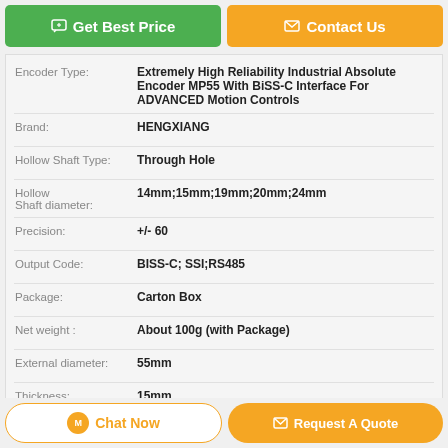[Figure (other): Get Best Price green button and Contact Us orange button at top]
| Encoder Type: | Extremely High Reliability Industrial Absolute Encoder MP55 With BiSS-C Interface For ADVANCED Motion Controls |
| Brand: | HENGXIANG |
| Hollow Shaft Type: | Through Hole |
| Hollow Shaft diameter: | 14mm;15mm;19mm;20mm;24mm |
| Precision: | +/- 60 |
| Output Code: | BISS-C; SSI;RS485 |
| Package: | Carton Box |
| Net weight : | About 100g (with Package) |
| External diameter: | 55mm |
| Thickness: | 15mm |
| Scanning Principle: | Reflective Grating Code |
| High Light: | Single Turn Absolute Multi Encoder , Single Turn Absolute Optical Rotary Encoder , 55Bit Optical Motor Multi Encoder |
[Figure (other): Chat Now and Request A Quote buttons at bottom]